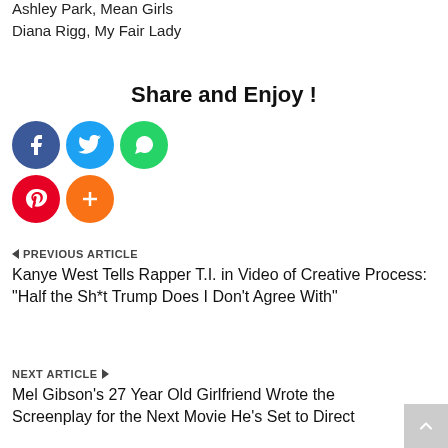Ashley Park, Mean Girls
Diana Rigg, My Fair Lady
Share and Enjoy !
[Figure (infographic): Social share buttons: Facebook (blue circle), Twitter (light blue circle), WhatsApp (green circle), Pinterest (red circle), More (orange circle with plus)]
PREVIOUS ARTICLE
Kanye West Tells Rapper T.I. in Video of Creative Process: "Half the Sh*t Trump Does I Don't Agree With"
NEXT ARTICLE
Mel Gibson's 27 Year Old Girlfriend Wrote the Screenplay for the Next Movie He's Set to Direct